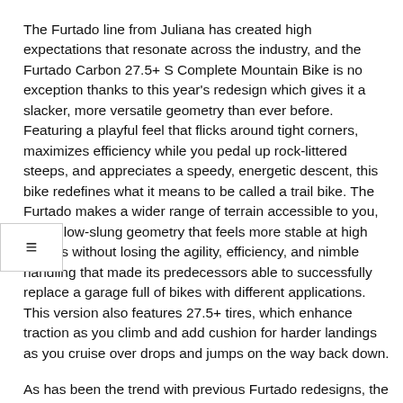The Furtado line from Juliana has created high expectations that resonate across the industry, and the Furtado Carbon 27.5+ S Complete Mountain Bike is no exception thanks to this year's redesign which gives it a slacker, more versatile geometry than ever before. Featuring a playful feel that flicks around tight corners, maximizes efficiency while you pedal up rock-littered steeps, and appreciates a speedy, energetic descent, this bike redefines what it means to be called a trail bike. The Furtado makes a wider range of terrain accessible to you, with a low-slung geometry that feels more stable at high speeds without losing the agility, efficiency, and nimble handling that made its predecessors able to successfully replace a garage full of bikes with different applications. This version also features 27.5+ tires, which enhance traction as you climb and add cushion for harder landings as you cruise over drops and jumps on the way back down.
As has been the trend with previous Furtado redesigns, the latest model leads with a slacker head tube angle, down from 67 degrees